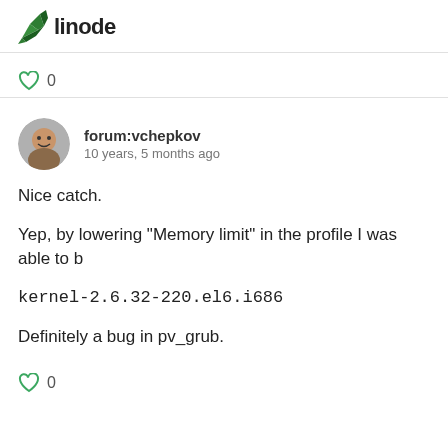linode
0
[Figure (photo): Avatar photo of forum user vchepkov — a man smiling, circular crop]
forum:vchepkov
10 years, 5 months ago
Nice catch.
Yep, by lowering "Memory limit" in the profile I was able to b
kernel-2.6.32-220.el6.i686
Definitely a bug in pv_grub.
0